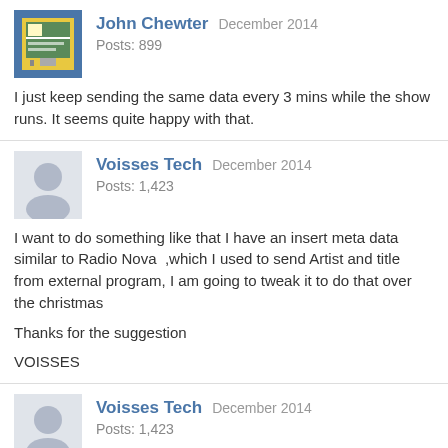John Chewter  December 2014
Posts: 899

I just keep sending the same data every 3 mins while the show runs. It seems quite happy with that.
Voisses Tech  December 2014
Posts: 1,423

I want to do something like that I have an insert meta data similar to Radio Nova  ,which I used to send Artist and title from external program, I am going to tweak it to do that over the christmas

Thanks for the suggestion

VOISSES
Voisses Tech  December 2014
Posts: 1,423

Let me say This  about business.Once someone say to be

  "If you get a job either develop skills for that job because you love it or develop skills to move to another Job you Love,Otherwise you will become frustrated  at your current job and it will always just pay your bills and you will die in poverty"